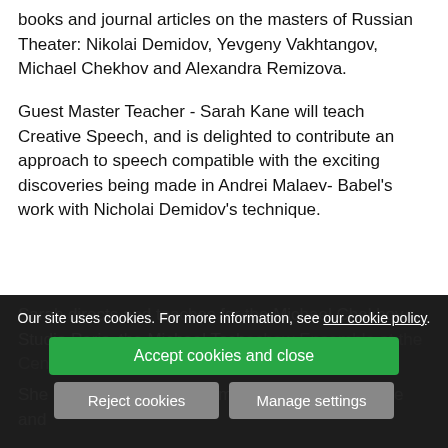books and journal articles on the masters of Russian Theater: Nikolai Demidov, Yevgeny Vakhtangov, Michael Chekhov and Alexandra Remizova.
Guest Master Teacher - Sarah Kane will teach Creative Speech, and is delighted to contribute an approach to speech compatible with the exciting discoveries being made in Andrei Malaev- Babel's work with Nicholai Demidov's technique.
Sarah directs and teaches for the Michael Chekhov Studio Paris, the Michael Tschechow Ensemble at the Central School..., and Michael Chekhov UK.
She ... training programmes in the UK, Europe and
Our site uses cookies. For more information, see our cookie policy.